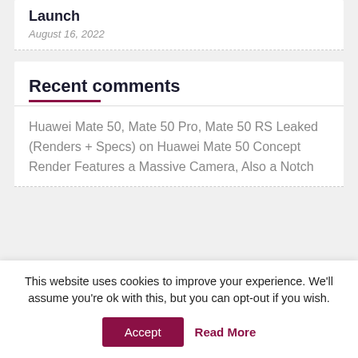Launch
August 16, 2022
Recent comments
Huawei Mate 50, Mate 50 Pro, Mate 50 RS Leaked (Renders + Specs) on Huawei Mate 50 Concept Render Features a Massive Camera, Also a Notch
This website uses cookies to improve your experience. We'll assume you're ok with this, but you can opt-out if you wish.